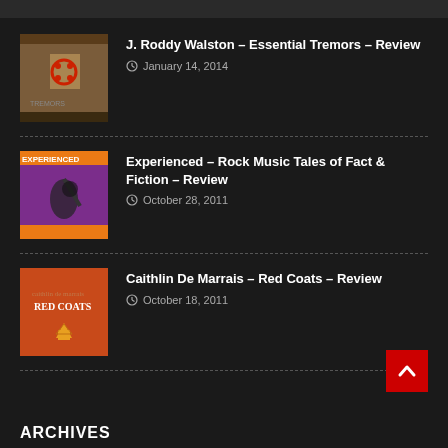[Figure (photo): Album cover thumbnail for J. Roddy Walston Essential Tremors]
J. Roddy Walston – Essential Tremors – Review
January 14, 2014
[Figure (photo): Album cover thumbnail for Experienced – Rock Music Tales of Fact & Fiction]
Experienced – Rock Music Tales of Fact & Fiction – Review
October 28, 2011
[Figure (photo): Album cover thumbnail for Caithlin De Marrais Red Coats]
Caithlin De Marrais – Red Coats – Review
October 18, 2011
ARCHIVES